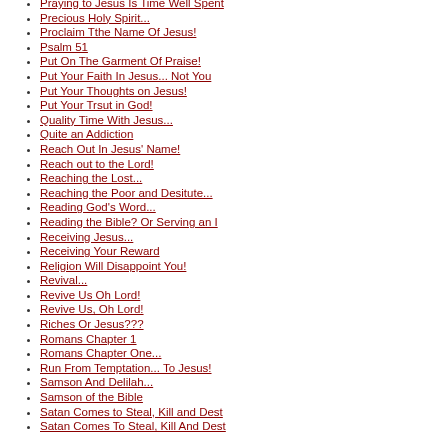Praying to Jesus Is Time Well Spent
Precious Holy Spirit...
Proclaim Tthe Name Of Jesus!
Psalm 51
Put On The Garment Of Praise!
Put Your Faith In Jesus... Not You
Put Your Thoughts on Jesus!
Put Your Trsut in God!
Quality Time With Jesus...
Quite an Addiction
Reach Out In Jesus' Name!
Reach out to the Lord!
Reaching the Lost...
Reaching the Poor and Desitute...
Reading God's Word...
Reading the Bible? Or Serving an I
Receiving Jesus...
Receiving Your Reward
Religion Will Disappoint You!
Revival...
Revive Us Oh Lord!
Revive Us, Oh Lord!
Riches Or Jesus???
Romans Chapter 1
Romans Chapter One...
Run From Temptation... To Jesus!
Samson And Delilah...
Samson of the Bible
Satan Comes to Steal, Kill and Dest
Satan Comes To Steal, Kill And Dest